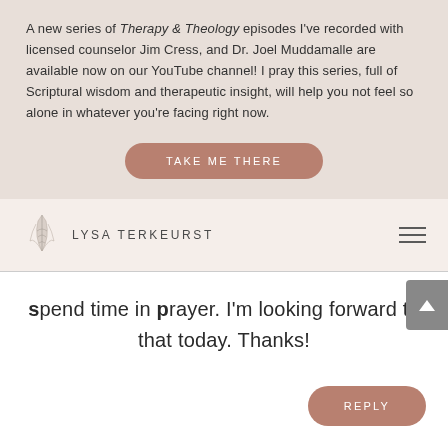A new series of Therapy & Theology episodes I've recorded with licensed counselor Jim Cress, and Dr. Joel Muddamalle are available now on our YouTube channel! I pray this series, full of Scriptural wisdom and therapeutic insight, will help you not feel so alone in whatever you're facing right now.
[Figure (other): Button labeled TAKE ME THERE in rounded rectangle with mauve/rose color]
[Figure (logo): Lysa TerKeurst logo with leaf/botanical illustration and text LYSA TERKEURST, plus hamburger menu icon on right]
spend time in prayer. I'm looking forward to that today. Thanks!
[Figure (other): Button labeled REPLY in rounded rectangle with mauve/rose color]